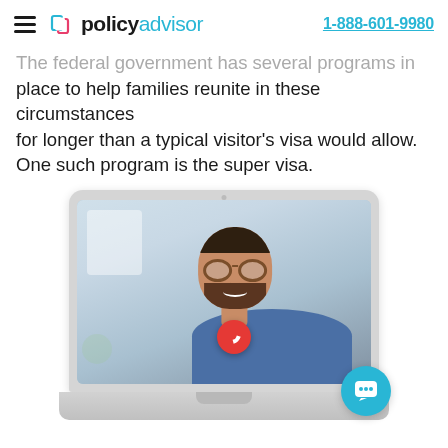policyadvisor  1-888-601-9980
The federal government has several programs in place to help families reunite in these circumstances for longer than a typical visitor's visa would allow. One such program is the super visa.
[Figure (photo): Laptop computer showing a video call with a smiling bearded man wearing glasses and a blue shirt, with a red hang-up button visible on screen. A teal chat button appears in the bottom right corner.]